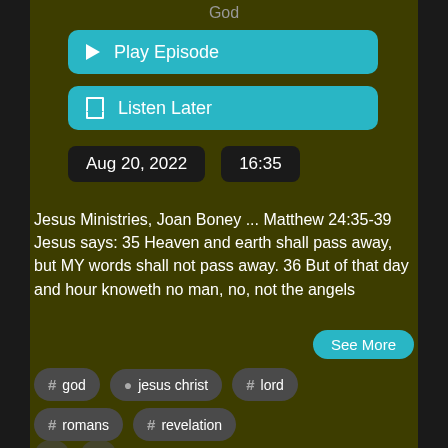God
[Figure (screenshot): Play Episode button (teal/cyan rounded rectangle with play triangle icon)]
[Figure (screenshot): Listen Later button (teal/cyan rounded rectangle with bookmark icon)]
Aug 20, 2022
16:35
Jesus Ministries, Joan Boney  ...  Matthew 24:35-39  Jesus says:   35 Heaven and earth shall pass away, but MY words shall not pass away. 36 But of that day and hour knoweth no man, no, not the angels
See More
# god
jesus christ
# lord
# romans
# revelation